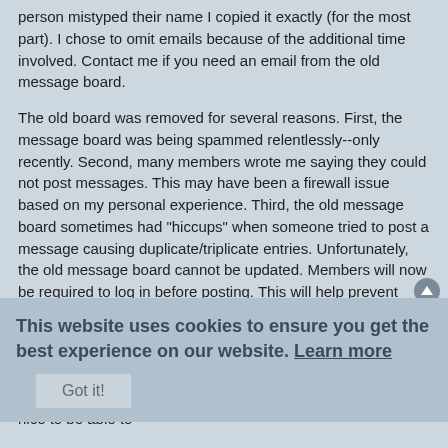person mistyped their name I copied it exactly (for the most part). I chose to omit emails because of the additional time involved. Contact me if you need an email from the old message board.
The old board was removed for several reasons. First, the message board was being spammed relentlessly--only recently. Second, many members wrote me saying they could not post messages. This may have been a firewall issue based on my personal experience. Third, the old message board sometimes had "hiccups" when someone tried to post a message causing duplicate/triplicate entries. Unfortunately, the old message board cannot be updated. Members will now be required to log in before posting. This will help prevent spam.
When I originally added the message board I had no idea so many people would use it. I'm glad people were able to meet up again. :wink:
dennis miller
Re: Old Message Board Has Moved
24 Apr 2008 08:16
I like the changes youv'e made and APPRECIATE all the hard work you have put in to this project. There are times when it is nice to be able to